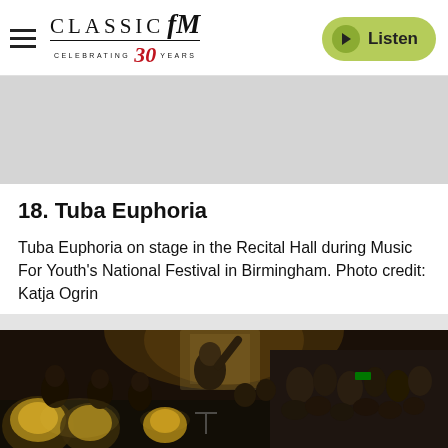Classic FM — Celebrating 30 Years | Listen
[Figure (photo): Classic FM logo with 'Celebrating 30 Years' tagline, hamburger menu icon on left, and a green Listen button on the right]
[Figure (photo): Gray advertisement/placeholder area]
18. Tuba Euphoria
Tuba Euphoria on stage in the Recital Hall during Music For Youth's National Festival in Birmingham. Photo credit: Katja Ogrin
[Figure (photo): Orchestra on stage in a concert hall, with tuba and brass players in the foreground and an audience visible in the background. Dark, atmospheric concert photography.]